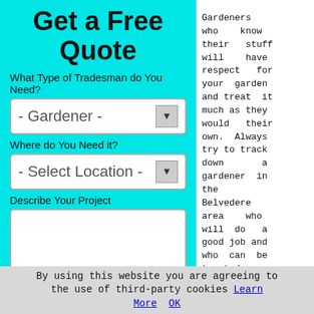Get a Free Quote
What Type of Tradesman do You Need?
- Gardener -
Where do You Need it?
- Select Location -
Describe Your Project
Gardeners who know their stuff will have respect for your garden and treat it much as they would their own. Always try to track down a gardener in the Belvedere area who will do a good job and who can be trusted. This is particularly
By using this website you are agreeing to the use of third-party cookies Learn More OK